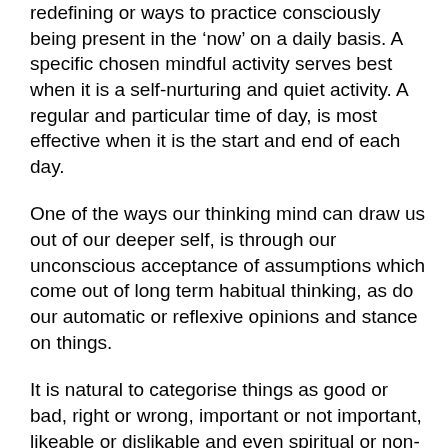redefining or ways to practice consciously being present in the ‘now’ on a daily basis. A specific chosen mindful activity serves best when it is a self-nurturing and quiet activity. A regular and particular time of day, is most effective when it is the start and end of each day.
One of the ways our thinking mind can draw us out of our deeper self, is through our unconscious acceptance of assumptions which come out of long term habitual thinking, as do our automatic or reflexive opinions and stance on things.
It is natural to categorise things as good or bad, right or wrong, important or not important, likeable or dislikable and even spiritual or non-spiritual because these dualistic points of view become part of our moral identity and character.